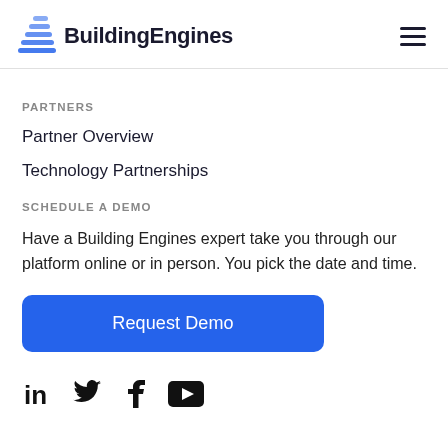BuildingEngines
PARTNERS
Partner Overview
Technology Partnerships
SCHEDULE A DEMO
Have a Building Engines expert take you through our platform online or in person. You pick the date and time.
Request Demo
[Figure (other): Social media icons: LinkedIn, Twitter, Facebook, YouTube]